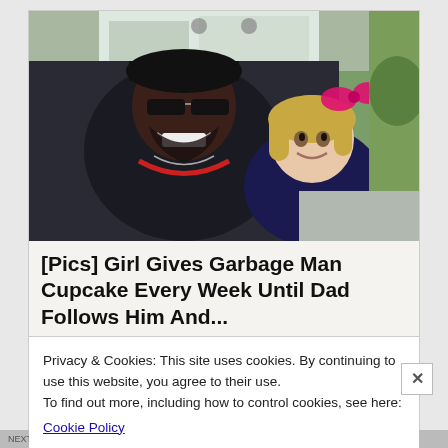[Figure (photo): A smiling man wearing a black cap, sunglasses, and a black hoodie with red headphones around his neck poses with a young blonde girl wearing a pink bow, outdoors near a white truck and green lawn.]
[Pics] Girl Gives Garbage Man Cupcake Every Week Until Dad Follows Him And...
Privacy & Cookies: This site uses cookies. By continuing to use this website, you agree to their use.
To find out more, including how to control cookies, see here:
Cookie Policy
Close and accept